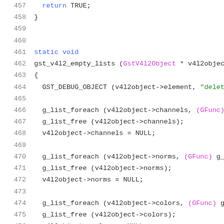Code listing lines 457-478, C source code for gst_v4l2_empty_lists function